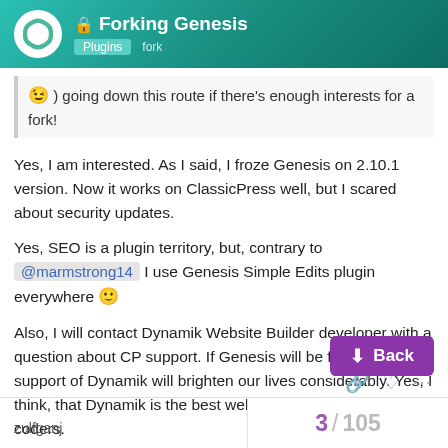Forking Genesis | Plugins fork
😉 ) going down this route if there's enough interests for a fork!
Yes, I am interested. As I said, I froze Genesis on 2.10.1 version. Now it works on ClassicPress well, but I scared about security updates.
Yes, SEO is a plugin territory, but, contrary to @marmstrong14 I use Genesis Simple Edits plugin everywhere 🙂
Also, I will contact Dynamik Website Builder developer with a question about CP support. If Genesis will be forked, the support of Dynamik will brighten our lives considerably. Yes, I think, that Dynamik is the best website builder for non coders.
zulfganj